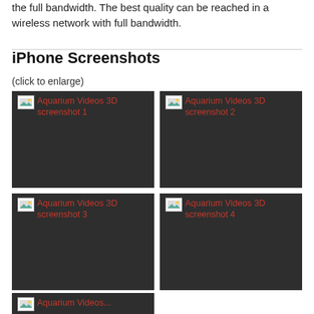the full bandwidth. The best quality can be reached in a wireless network with full bandwidth.
iPhone Screenshots
(click to enlarge)
[Figure (screenshot): Aquarium Videos 3D screenshot 1 - dark background placeholder image]
[Figure (screenshot): Aquarium Videos 3D screenshot 2 - dark background placeholder image]
[Figure (screenshot): Aquarium Videos 3D screenshot 3 - dark background placeholder image]
[Figure (screenshot): Aquarium Videos 3D screenshot 4 - dark background placeholder image]
[Figure (screenshot): Aquarium Videos 3D screenshot 5 (partial) - dark background placeholder image]